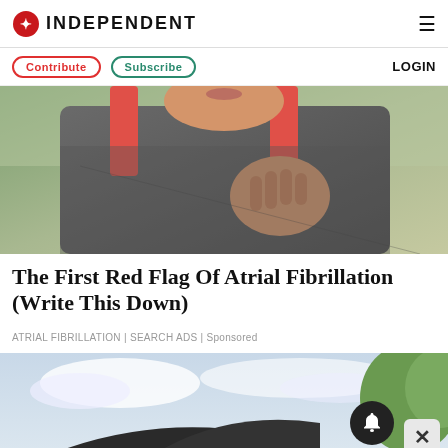INDEPENDENT
Contribute   Subscribe   LOGIN
[Figure (photo): Person in athletic wear holding their chest, possibly experiencing heart discomfort, outdoors with blurred green background]
The First Red Flag Of Atrial Fibrillation (Write This Down)
ATRIAL FIBRILLATION | SEARCH ADS | Sponsored
[Figure (photo): Partial view of a modern building or structure with trees visible, cloudy sky in background]